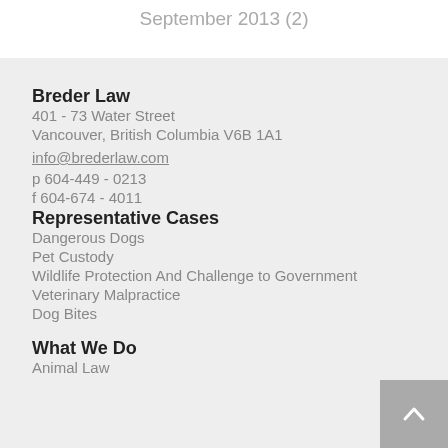September 2013 (2)
Breder Law
401 - 73 Water Street
Vancouver, British Columbia V6B 1A1
info@brederlaw.com
p 604-449 - 0213
f 604-674 - 4011
Representative Cases
Dangerous Dogs
Pet Custody
Wildlife Protection And Challenge to Government
Veterinary Malpractice
Dog Bites
What We Do
Animal Law